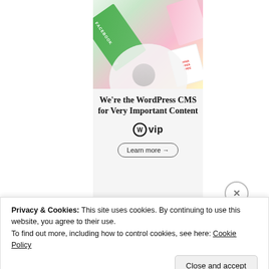[Figure (screenshot): WordPress VIP advertisement banner showing books/cards with Facebook branding at top, then headline 'We're the WordPress CMS for Very Important Content' with WordPress VIP logo and 'Learn more →' button on light gray background.]
Privacy & Cookies: This site uses cookies. By continuing to use this website, you agree to their use.
To find out more, including how to control cookies, see here: Cookie Policy
Close and accept